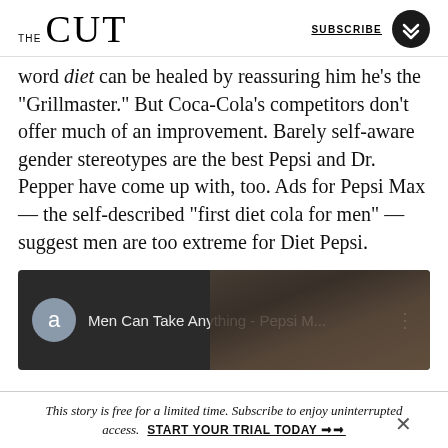THE CUT | SUBSCRIBE
word diet can be healed by reassuring him he’s the “Grillmaster.” But Coca-Cola’s competitors don’t offer much of an improvement. Barely self-aware gender stereotypes are the best Pepsi and Dr. Pepper have come up with, too. Ads for Pepsi Max — the self-described “first diet cola for men” — suggest men are too extreme for Diet Pepsi.
[Figure (screenshot): YouTube video thumbnail showing 'Men Can Take Anything - Pepsi M...' with a circular avatar icon with letter 'a' and a vertical dots menu button on the right. Dark background.]
This story is free for a limited time. Subscribe to enjoy uninterrupted access. START YOUR TRIAL TODAY ➡➡